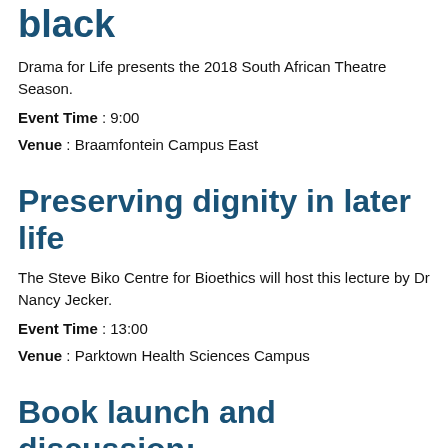black
Drama for Life presents the 2018 South African Theatre Season.
Event Time : 9:00
Venue : Braamfontein Campus East
Preserving dignity in later life
The Steve Biko Centre for Bioethics will host this lecture by Dr Nancy Jecker.
Event Time : 13:00
Venue : Parktown Health Sciences Campus
Book launch and discussion: